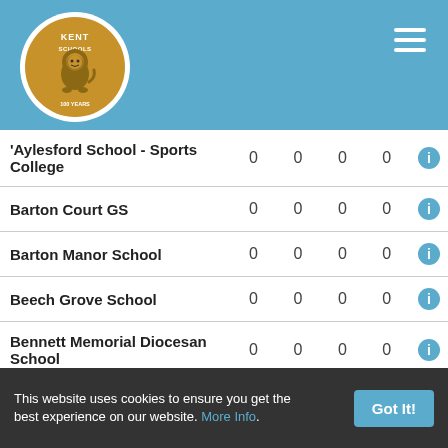[Figure (logo): Kent Schools logo - circular gold badge with lion and text KENT SCHOOLS]
| School |  |  |  |  |  |
| --- | --- | --- | --- | --- | --- |
| 'Aylesford School - Sports College | 0 | 0 | 0 | 0 | ℹ |
| Barton Court GS | 0 | 0 | 0 | 0 | ℹ |
| Barton Manor School | 0 | 0 | 0 | 0 | ℹ |
| Beech Grove School | 0 | 0 | 0 | 0 | ℹ |
| Bennett Memorial Diocesan School | 0 | 0 | 0 | 0 | ℹ |
| Bethany School | 0 | 0 | 0 | 0 | ℹ |
| Beths GS | 0 | 0 | 0 | 0 | ℹ |
| Bexley GS | 0 | 0 | 0 | 0 | ℹ |
| Bexleyheath Academy | 0 | 0 | 0 | 0 | ℹ |
| Bishop Challoner School | 0 | 0 | 0 | 0 | ℹ |
| Bishop Justus C of E School | 0 | 0 | 0 | 0 | ℹ |
This website uses cookies to ensure you get the best experience on our website. More Info.